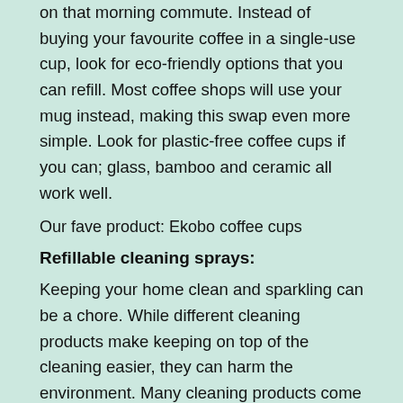on that morning commute. Instead of buying your favourite coffee in a single-use cup, look for eco-friendly options that you can refill. Most coffee shops will use your mug instead, making this swap even more simple. Look for plastic-free coffee cups if you can; glass, bamboo and ceramic all work well.
Our fave product: Ekobo coffee cups
Refillable cleaning sprays:
Keeping your home clean and sparkling can be a chore. While different cleaning products make keeping on top of the cleaning easier, they can harm the environment. Many cleaning products come in single-use plastic bottles and contain ingredients that are harmful to the environment too. Fortunately, it's simple to swap out to a